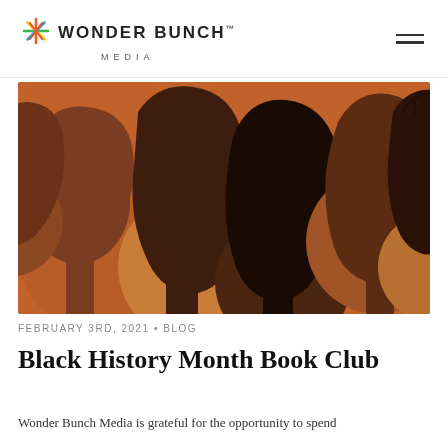WONDER BUNCH MEDIA
[Figure (illustration): Colorful illustration of overlapping silhouetted heads/profiles of people in various shades of brown, terracotta, and dark chocolate, representing diversity.]
FEBRUARY 3RD, 2021 • BLOG
Black History Month Book Club
Wonder Bunch Media is grateful for the opportunity to spend